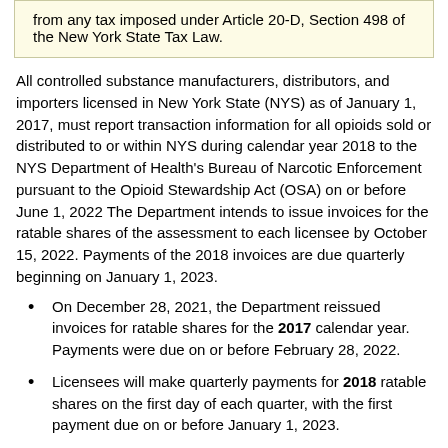from any tax imposed under Article 20-D, Section 498 of the New York State Tax Law.
All controlled substance manufacturers, distributors, and importers licensed in New York State (NYS) as of January 1, 2017, must report transaction information for all opioids sold or distributed to or within NYS during calendar year 2018 to the NYS Department of Health's Bureau of Narcotic Enforcement pursuant to the Opioid Stewardship Act (OSA) on or before June 1, 2022 The Department intends to issue invoices for the ratable shares of the assessment to each licensee by October 15, 2022. Payments of the 2018 invoices are due quarterly beginning on January 1, 2023.
On December 28, 2021, the Department reissued invoices for ratable shares for the 2017 calendar year. Payments were due on or before February 28, 2022.
Licensees will make quarterly payments for 2018 ratable shares on the first day of each quarter, with the first payment due on or before January 1, 2023.